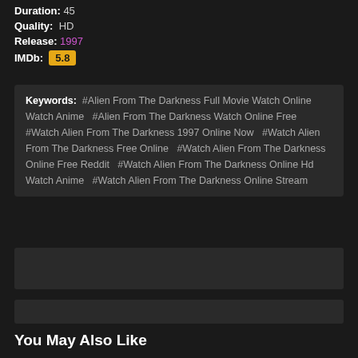Duration: 45
Quality: HD
Release: 1997
IMDb: 5.8
Keywords: #Alien From The Darkness Full Movie Watch Online Watch Anime  #Alien From The Darkness Watch Online Free  #Watch Alien From The Darkness 1997 Online Now  #Watch Alien From The Darkness Free Online  #Watch Alien From The Darkness Online Free Reddit  #Watch Alien From The Darkness Online Hd Watch Anime  #Watch Alien From The Darkness Online Stream
You May Also Like
[Figure (other): Thumbnail placeholder with UHD badge]
[Figure (other): Thumbnail placeholder with 720p badge]